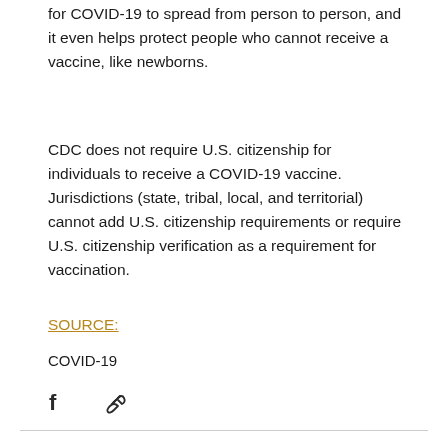for COVID-19 to spread from person to person, and it even helps protect people who cannot receive a vaccine, like newborns.
CDC does not require U.S. citizenship for individuals to receive a COVID-19 vaccine. Jurisdictions (state, tribal, local, and territorial) cannot add U.S. citizenship requirements or require U.S. citizenship verification as a requirement for vaccination.
SOURCE:
COVID-19
[Figure (other): Social sharing icons: Facebook icon and link/chain icon]